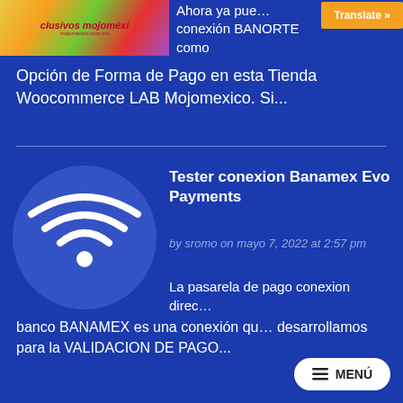[Figure (screenshot): Thumbnail image showing colorful mojomexico branding with text 'clusivos mojoméxi' and URL mojomexico.com.mx]
Ahora ya pue… conexión BANORTE como Opción de Forma de Pago en esta Tienda Woocommerce LAB Mojomexico. Si...
Tester conexion Banamex Evo Payments
by sromo on mayo 7, 2022 at 2:57 pm
[Figure (illustration): WiFi icon illustration in a blue circle]
La pasarela de pago conexion direc… banco BANAMEX es una conexión qu… desarrollamos para la VALIDACION DE PAGO...